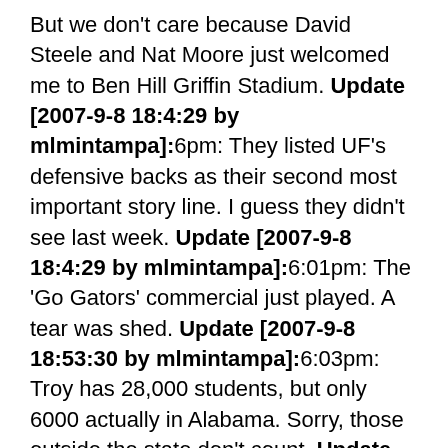But we don't care because David Steele and Nat Moore just welcomed me to Ben Hill Griffin Stadium. Update [2007-9-8 18:4:29 by mlmintampa]:6pm: They listed UF's defensive backs as their second most important story line. I guess they didn't see last week. Update [2007-9-8 18:4:29 by mlmintampa]:6:01pm: The 'Go Gators' commercial just played. A tear was shed. Update [2007-9-8 18:53:30 by mlmintampa]:6:03pm: Troy has 28,000 students, but only 6000 actually in Alabama. Sorry, those outside the state don't count. Update [2007-9-8 18:53:30 by mlmintampa]:Troy takes the opening kick to the 28. Update [2007-9-8 18:53:30 by mlmintampa]:Troy has two wides with the Brody Croyle hair cut. Nice. Update [2007-9-8 18:53:30 by mlmintampa]:12:34 1st: Troy goes 3 and out and Gators block the punt. It wasnt so much as blocked as the second level of blockers were